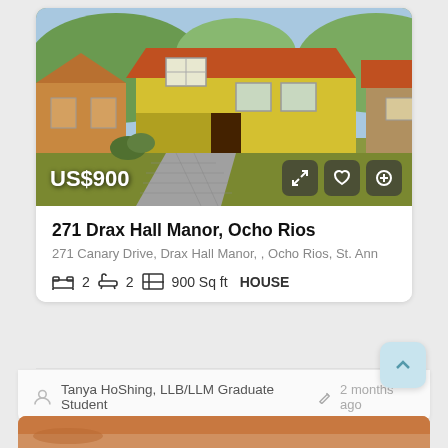[Figure (photo): Exterior photo of a yellow/green house with red tile roof, paved driveway, and green lawn in Drax Hall Manor, Ocho Rios, Jamaica]
US$900
271 Drax Hall Manor, Ocho Rios
271 Canary Drive, Drax Hall Manor, , Ocho Rios, St. Ann
2  2  900 Sq ft  HOUSE
Tanya HoShing, LLB/LLM Graduate Student  2 months ago